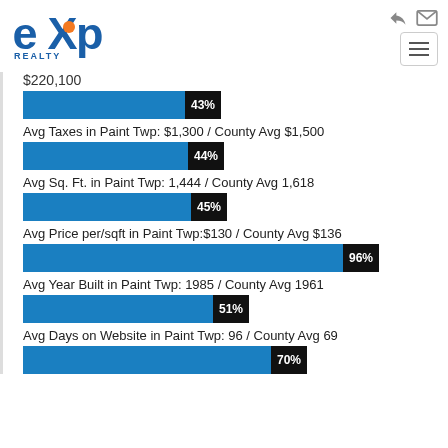[Figure (logo): eXp Realty logo with orange and blue colors]
$220,100
[Figure (bar-chart): 43%]
Avg Taxes in Paint Twp: $1,300 / County Avg $1,500
[Figure (bar-chart): 44%]
Avg Sq. Ft. in Paint Twp: 1,444 / County Avg 1,618
[Figure (bar-chart): 45%]
Avg Price per/sqft in Paint Twp:$130 / County Avg $136
[Figure (bar-chart): 96%]
Avg Year Built in Paint Twp: 1985 / County Avg 1961
[Figure (bar-chart): 51%]
Avg Days on Website in Paint Twp: 96 / County Avg 69
[Figure (bar-chart): 70%]